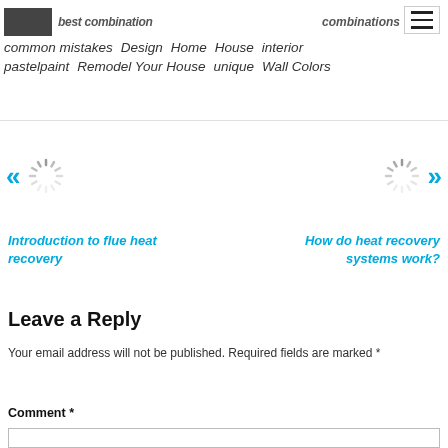best combination combinations common mistakes Design Home House interior pastelpaint Remodel Your House unique Wall Colors
[Figure (other): Navigation carousel with left double-arrow, loading spinner, right loading spinner, right double-arrow]
Introduction to flue heat recovery
How do heat recovery systems work?
Leave a Reply
Your email address will not be published. Required fields are marked *
Comment *